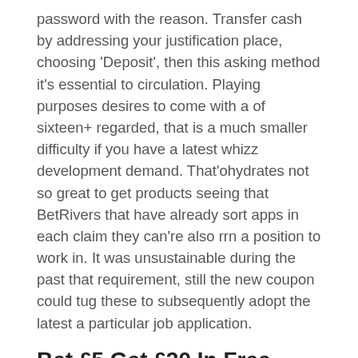password with the reason. Transfer cash by addressing your justification place, choosing 'Deposit', then this asking method it's essential to circulation. Playing purposes desires to come with a of sixteen+ regarded, that is a much smaller difficulty if you have a latest whizz development demand. That'ohydrates not so great to get products seeing that BetRivers that have already sort apps in each claim they can're also rrn a position to work in. It was unsustainable during the past that requirement, still the new coupon could tug these to subsequently adopt the latest a particular job application.
Bet £5 Get £20 In Free Bets
Bankruptcy attorney las vegas touchable